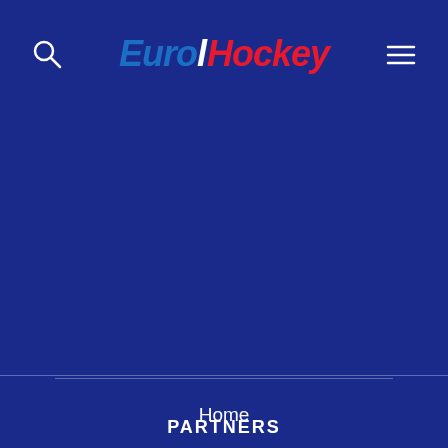[Figure (logo): EuroHockey logo with search icon and hamburger menu on dark blue background]
Home
Terms & Conditions
Privacy Policy
Cookie Policy
Media Terms and Conditions
Contact Us
PARTNERS